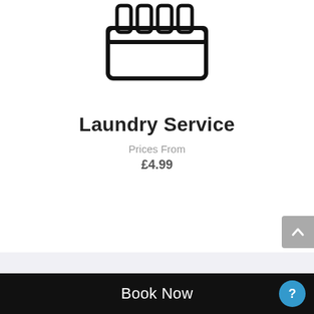[Figure (illustration): Laundry basket icon — a rectangular basket outline with five vertical rectangular slots/openings along the top portion, drawn in bold black strokes on white background]
Laundry Service
Prices From
£4.99
Book Now